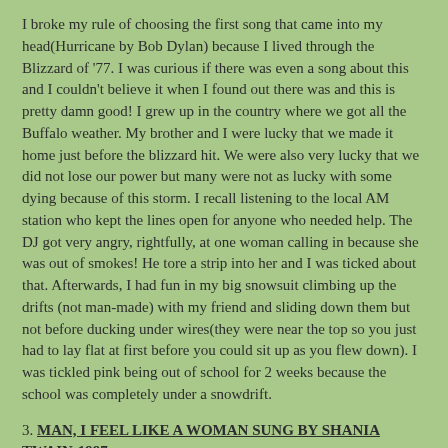I broke my rule of choosing the first song that came into my head(Hurricane by Bob Dylan) because I lived through the Blizzard of '77. I was curious if there was even a song about this and I couldn't believe it when I found out there was and this is pretty damn good! I grew up in the country where we got all the Buffalo weather. My brother and I were lucky that we made it home just before the blizzard hit. We were also very lucky that we did not lose our power but many were not as lucky with some dying because of this storm. I recall listening to the local AM station who kept the lines open for anyone who needed help. The DJ got very angry, rightfully, at one woman calling in because she was out of smokes! He tore a strip into her and I was ticked about that. Afterwards, I had fun in my big snowsuit climbing up the drifts (not man-made) with my friend and sliding down them but not before ducking under wires(they were near the top so you just had to lay flat at first before you could sit up as you flew down). I was tickled pink being out of school for 2 weeks because the school was completely under a snowdrift.
3. MAN, I FEEL LIKE A WOMAN SUNG BY SHANIA TWAIN-1997